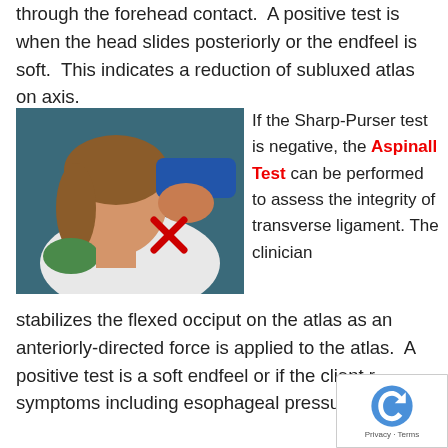through the forehead contact.  A positive test is when the head slides posteriorly or the endfeel is soft.  This indicates a reduction of subluxed atlas on axis.
[Figure (photo): Clinical photograph showing a clinician performing a cervical spine assessment on a patient. The clinician's hands are positioned on the patient's neck/occiput area. A red X mark is overlaid on the image near the upper cervical spine region.]
If the Sharp-Purser test is negative, the Aspinall Test can be performed to assess the integrity of transverse ligament. The clinician stabilizes the flexed occiput on the atlas as an anteriorly-directed force is applied to the atlas. A positive test is a soft endfeel or if the client r... symptoms including esophageal pressure and/or